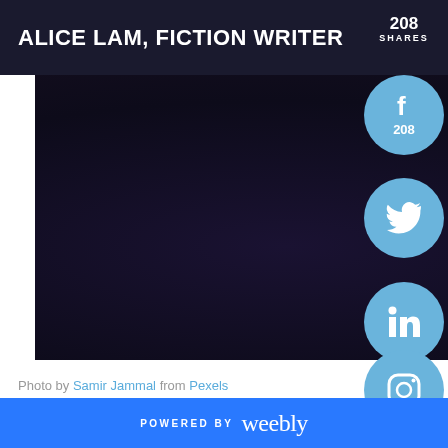ALICE LAM, FICTION WRITER
[Figure (photo): Dark moody photo used as header banner image, very dark navy/purple tones]
Photo by Samir Jammal from Pexels
[Figure (infographic): Social share sidebar with Facebook (208 shares), Twitter, LinkedIn, Reddit, Instagram circular icons in light blue]
POWERED BY weebly